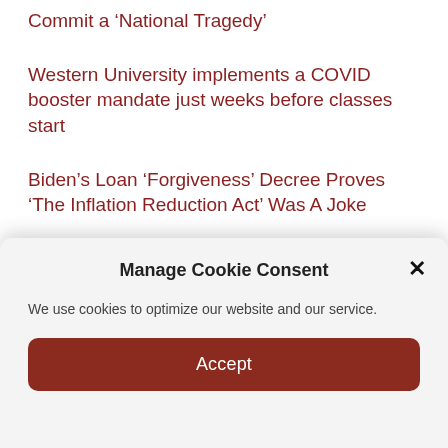Commit a ‘National Tragedy’
Western University implements a COVID booster mandate just weeks before classes start
Biden’s Loan ‘Forgiveness’ Decree Proves ‘The Inflation Reduction Act’ Was A Joke
Iran Still ‘Studying’ Biden’s Nuclear Deal Offer, Insists Nuclear Power ‘Cannot Be Taken from Us’
The Curious Silence on Facebook When CEO Mark Zuckerberg Appeared on the World’s Top Podcast
Domestic Dispute Leads To Attempted Murder Charges For
Manage Cookie Consent
We use cookies to optimize our website and our service.
Accept